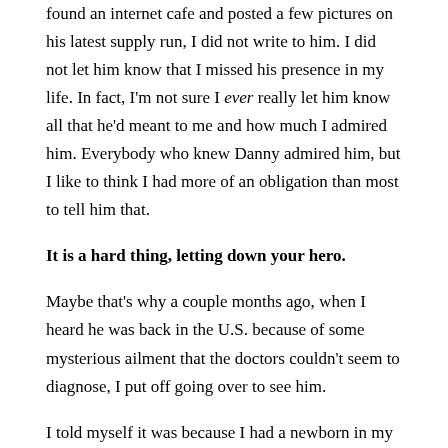found an internet cafe and posted a few pictures on his latest supply run, I did not write to him. I did not let him know that I missed his presence in my life. In fact, I'm not sure I ever really let him know all that he'd meant to me and how much I admired him. Everybody who knew Danny admired him, but I like to think I had more of an obligation than most to tell him that.
It is a hard thing, letting down your hero.
Maybe that's why a couple months ago, when I heard he was back in the U.S. because of some mysterious ailment that the doctors couldn't seem to diagnose, I put off going over to see him.
I told myself it was because I had a newborn in my house. I told myself I needed to protect my child, and exposing myself to some mysterious Amazonian ailment was not a wise choice.